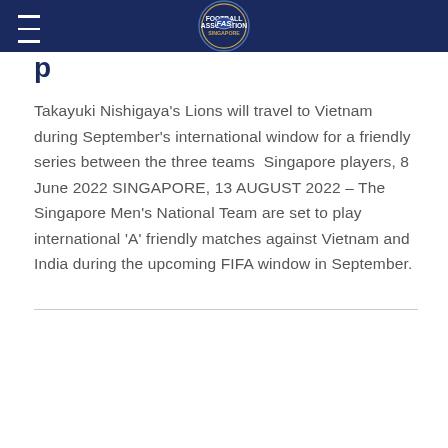Football Association of Singapore (FAS) logo and navigation
p
Takayuki Nishigaya's Lions will travel to Vietnam during September's international window for a friendly series between the three teams  Singapore players, 8 June 2022 SINGAPORE, 13 AUGUST 2022 – The Singapore Men's National Team are set to play international 'A' friendly matches against Vietnam and India during the upcoming FIFA window in September.